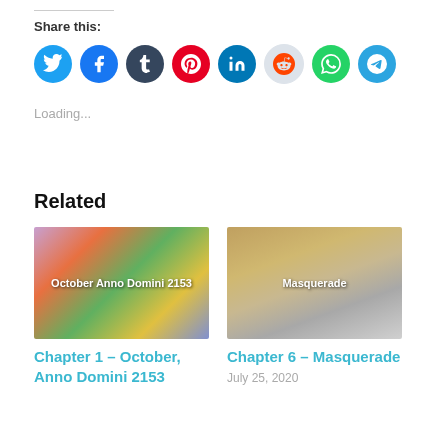Share this:
[Figure (infographic): Row of social media share icon buttons: Twitter (blue), Facebook (blue), Tumblr (dark navy), Pinterest (red), LinkedIn (blue), Reddit (light grey), WhatsApp (green), Telegram (blue)]
Loading...
Related
[Figure (photo): Thumbnail image with colorful graffiti art overlay and text 'October Anno Domini 2153']
Chapter 1 – October, Anno Domini 2153
[Figure (photo): Thumbnail image with golden/grey angelic art and text 'Masquerade']
Chapter 6 – Masquerade
July 25, 2020